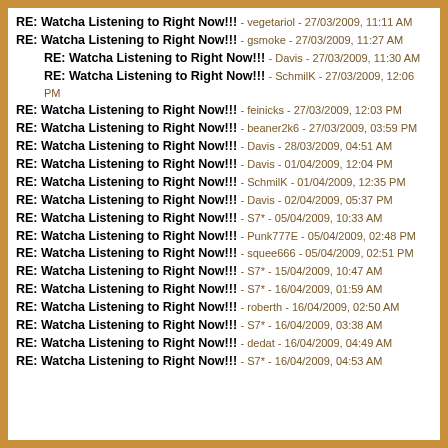RE: Watcha Listening to Right Now!!! - vegetariol - 27/03/2009, 11:11 AM
RE: Watcha Listening to Right Now!!! - gsmoke - 27/03/2009, 11:27 AM
RE: Watcha Listening to Right Now!!! - Davis - 27/03/2009, 11:30 AM
RE: Watcha Listening to Right Now!!! - SchmilK - 27/03/2009, 12:06 PM
RE: Watcha Listening to Right Now!!! - feinicks - 27/03/2009, 12:03 PM
RE: Watcha Listening to Right Now!!! - beaner2k6 - 27/03/2009, 03:59 PM
RE: Watcha Listening to Right Now!!! - Davis - 28/03/2009, 04:51 AM
RE: Watcha Listening to Right Now!!! - Davis - 01/04/2009, 12:04 PM
RE: Watcha Listening to Right Now!!! - SchmilK - 01/04/2009, 12:35 PM
RE: Watcha Listening to Right Now!!! - Davis - 02/04/2009, 05:37 PM
RE: Watcha Listening to Right Now!!! - S7* - 05/04/2009, 10:33 AM
RE: Watcha Listening to Right Now!!! - Punk777E - 05/04/2009, 02:48 PM
RE: Watcha Listening to Right Now!!! - squee666 - 05/04/2009, 02:51 PM
RE: Watcha Listening to Right Now!!! - S7* - 15/04/2009, 10:47 AM
RE: Watcha Listening to Right Now!!! - S7* - 16/04/2009, 01:59 AM
RE: Watcha Listening to Right Now!!! - roberth - 16/04/2009, 02:50 AM
RE: Watcha Listening to Right Now!!! - S7* - 16/04/2009, 03:38 AM
RE: Watcha Listening to Right Now!!! - dedat - 16/04/2009, 04:49 AM
RE: Watcha Listening to Right Now!!! - S7* - 16/04/2009, 04:53 AM